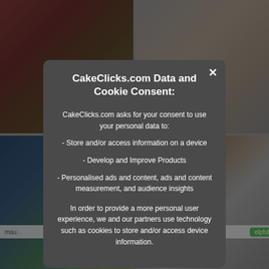[Figure (photo): Background showing a grid of cake photos from CakeClicks.com website, partially obscured by a modal overlay. Four cake images visible in a 2x2 grid layout with gray dividers. Labels and helpful buttons visible between rows.]
CakeClicks.com Data and Cookie Consent:
CakeClicks.com asks for your consent to use your personal data to:
- Store and/or access information on a device
- Develop and Improve Products
- Personalised ads and content, ads and content measurement, and audience insights
In order to provide a more personal user experience, we and our partners use technology such as cookies to store and/or access device information.